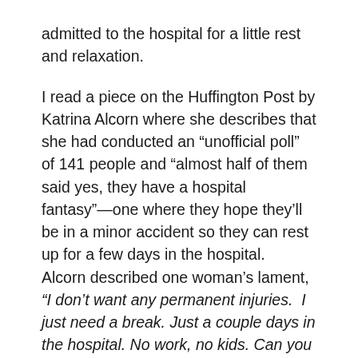admitted to the hospital for a little rest and relaxation.

I read a piece on the Huffington Post by Katrina Alcorn where she describes that she had conducted an “unofficial poll” of 141 people and “almost half of them said yes, they have a hospital fantasy”—one where they hope they’ll be in a minor accident so they can rest up for a few days in the hospital.  Alcorn described one woman’s lament, “I don’t want any permanent injuries.  I just need a break. Just a couple days in the hospital. No work, no kids. Can you imagine?  I could catch up on sleep. I could read a magazine. I know, it’s ridiculous, right?  But doesn’t it sound